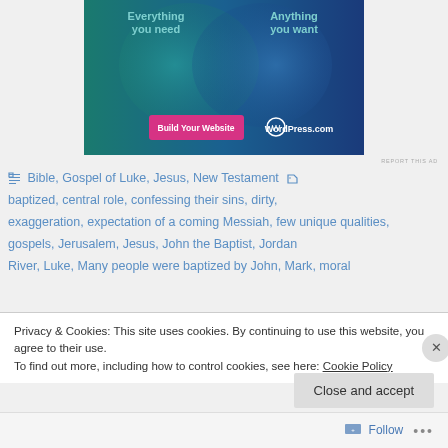[Figure (screenshot): WordPress.com advertisement banner with teal/blue gradient background, 'Everything you need' and 'Anything you want' text, overlapping circles, 'Build Your Website' pink button and WordPress.com logo]
REPORT THIS AD
Bible, Gospel of Luke, Jesus, New Testament baptized, central role, confessing their sins, dirty, exaggeration, expectation of a coming Messiah, few unique qualities, gospels, Jerusalem, Jesus, John the Baptist, Jordan River, Luke, Many people were baptized by John, Mark, moral
Privacy & Cookies: This site uses cookies. By continuing to use this website, you agree to their use.
To find out more, including how to control cookies, see here: Cookie Policy
Close and accept
Follow